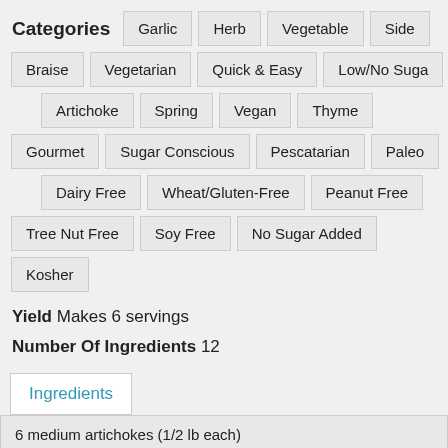Categories  Garlic  Herb  Vegetable  Side  Braise  Vegetarian  Quick & Easy  Low/No Sugar  Artichoke  Spring  Vegan  Thyme  Gourmet  Sugar Conscious  Pescatarian  Paleo  Dairy Free  Wheat/Gluten-Free  Peanut Free  Tree Nut Free  Soy Free  No Sugar Added  Kosher
Yield Makes 6 servings
Number Of Ingredients 12
Ingredients
6 medium artichokes (1/2 lb each)